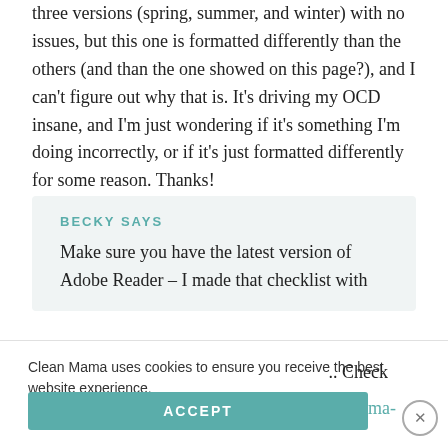three versions (spring, summer, and winter) with no issues, but this one is formatted differently than the others (and than the one showed on this page?), and I can't figure out why that is. It's driving my OCD insane, and I'm just wondering if it's something I'm doing incorrectly, or if it's just formatted differently for some reason. Thanks!
BECKY SAYS
Make sure you have the latest version of Adobe Reader – I made that checklist with
Clean Mama uses cookies to ensure you receive the best website experience.
Learn more.
ACCEPT